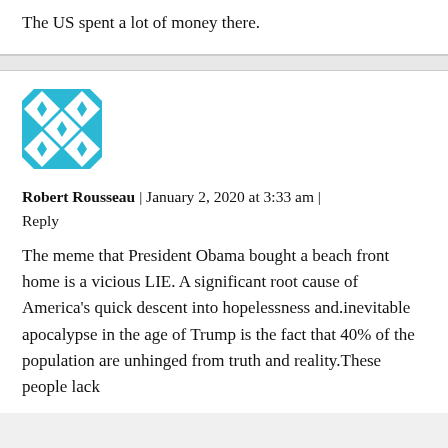The US spent a lot of money there.
Robert Rousseau | January 2, 2020 at 3:33 am | Reply
[Figure (illustration): Avatar image: teal/cyan geometric pattern with interlocking star and diamond shapes on white background]
The meme that President Obama bought a beach front home is a vicious LIE. A significant root cause of America's quick descent into hopelessness and.inevitable apocalypse in the age of Trump is the fact that 40% of the population are unhinged from truth and reality.These people lack